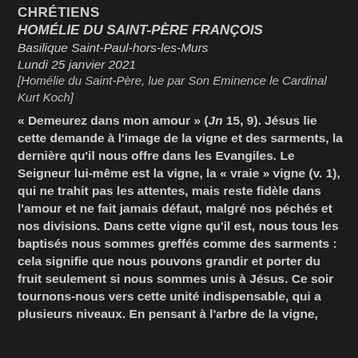CHRÉTIENS
HOMÉLIE DU SAINT-PÈRE FRANÇOIS
Basilique Saint-Paul-hors-les-Murs
Lundi 25 janvier 2021
[Homélie du Saint-Père, lue par Son Eminence le Cardinal Kurt Koch]
« Demeurez dans mon amour » (Jn 15, 9). Jésus lie cette demande à l'image de la vigne et des sarments, la dernière qu'il nous offre dans les Evangiles. Le Seigneur lui-même est la vigne, la « vraie » vigne (v. 1), qui ne trahit pas les attentes, mais reste fidèle dans l'amour et ne fait jamais défaut, malgré nos péchés et nos divisions. Dans cette vigne qu'il est, nous tous les baptisés nous sommes greffés comme des sarments : cela signifie que nous pouvons grandir et porter du fruit seulement si nous sommes unis à Jésus. Ce soir tournons-nous vers cette unité indispensable, qui a plusieurs niveaux. En pensant à l'arbre de la vigne,